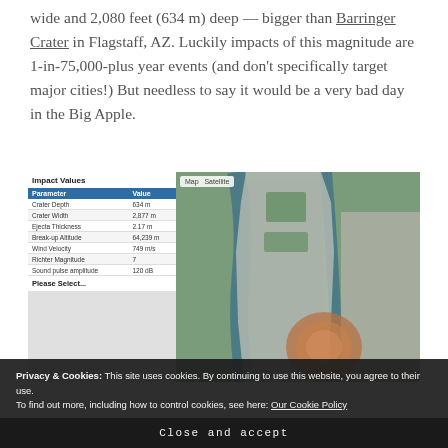wide and 2,080 feet (634 m) deep — bigger than Barringer Crater in Flagstaff, AZ. Luckily impacts of this magnitude are 1-in-75,000-plus year events (and don't specifically target major cities!) But needless to say it would be a very bad day in the Big Apple.
[Figure (screenshot): Screenshot showing an Impact Values table on the left with parameters: Crater Depth 634 m, Crater Width 2,877 m, Ejecta Thickness 2.17 m, Break-up Altitude 64,239 m, Wind Velocity 749 m/s, Richter Magnitude 7, Sound pulse amplitude 120 dB. On the right is a satellite map view of New York City showing Manhattan and surrounding boroughs with a crater simulation overlay.]
Privacy & Cookies: This site uses cookies. By continuing to use this website, you agree to their use. To find out more, including how to control cookies, see here: Our Cookie Policy
Close and accept